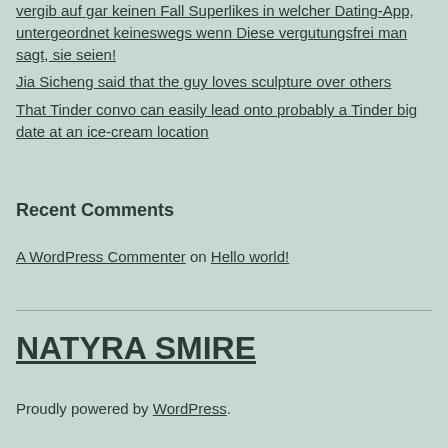vergib auf gar keinen Fall Superlikes in welcher Dating-App, untergeordnet keineswegs wenn Diese vergutungsfrei man sagt, sie seien!
Jia Sicheng said that the guy loves sculpture over others
That Tinder convo can easily lead onto probably a Tinder big date at an ice-cream location
Recent Comments
A WordPress Commenter on Hello world!
NATYRA SMIRE
Proudly powered by WordPress.